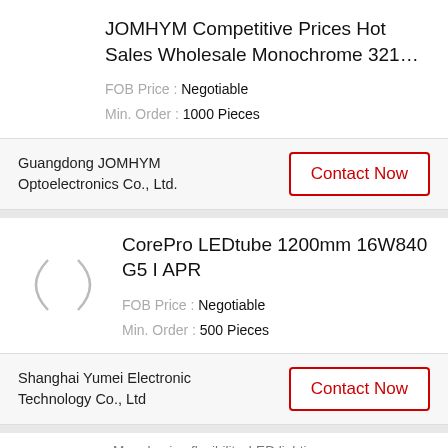JOMHYM Competitive Prices Hot Sales Wholesale Monochrome 321…
FOB Price : Negotiable
Min. Order : 1000 Pieces
Guangdong JOMHYM Optoelectronics Co., Ltd.
Contact Now
CorePro LEDtube 1200mm 16W840 G5 I APR
FOB Price : Negotiable
Min. Order : 500 Pieces
Shanghai Yumei Electronic Technology Co., Ltd
Contact Now
More buying flexibility, LED lighting…